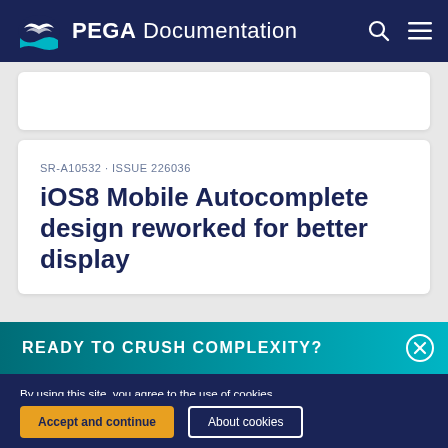PEGA Documentation
SR-A10532 · ISSUE 226036
iOS8 Mobile Autocomplete design reworked for better display
READY TO CRUSH COMPLEXITY?
By using this site, you agree to the use of cookies. Read our Privacy Policy
Accept and continue   About cookies